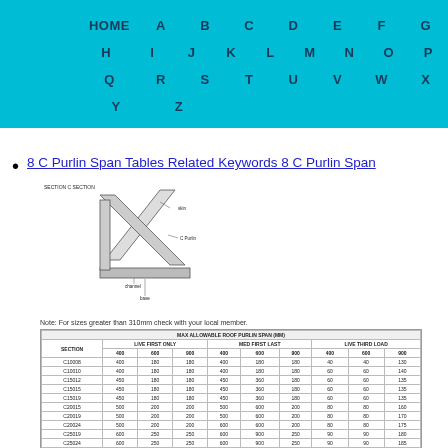HOME A B C D E F G H I J K L M N O P Q R S T U V W X Y Z
8 C Purlin Span Tables Related Keywords 8 C Purlin Span
[Figure (engineering-diagram): Section C section diagram showing purlin components including skin, C purlin, channel, and base]
Note: For sizes greater than 310mm check with your local member.
| SECTION | LIVE FIRST ONLY | MED FIRST LAST | LIVE THIRD LOAD |
| --- | --- | --- | --- |
| C10008 |  |  |  |
| C10010 |  |  |  |
| C15012 |  |  |  |
| C15015 |  |  |  |
| C15019 |  |  |  |
| C20015 |  |  |  |
| C20019 |  |  |  |
| C20024 |  |  |  |
| C25019 |  |  |  |
| C25024 |  |  |  |
| C30024 |  |  |  |
| C31024 |  |  |  |